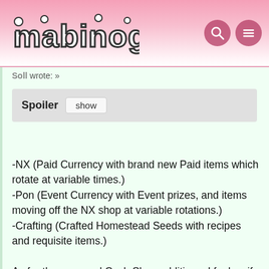Mabinogi
Soll wrote: »
Spoiler  show
-NX (Paid Currency with brand new Paid items which rotate at variable times.)
-Pon (Event Currency with Event prizes, and items moving off the NX shop at variable rotations.)
-Crafting (Crafted Homestead Seeds with recipes and requisite items.)

As for the seasonal Cash Shop additions, I feel as if Nexon still hasn't yet begun to process the impact of loot boxes and new legislation.
They could very well forget Belgium in all this, and continue to roll out the newest items in gachapons.
The next likely step Nexon would take, is to move the newest Homestead Seeds into the NX store after a week.
Then they'd move those Homestead Seeds into the Pon...